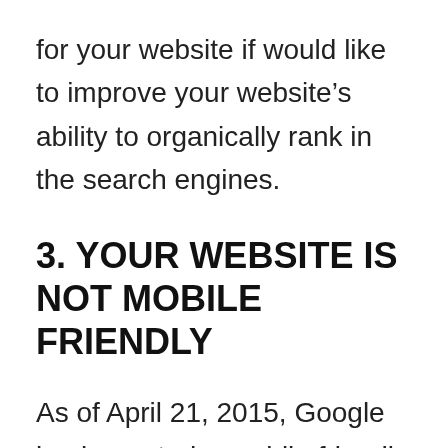for your website if would like to improve your website's ability to organically rank in the search engines.
3. YOUR WEBSITE IS NOT MOBILE FRIENDLY
As of April 21, 2015, Google implemented a mobile friendly ranking signal/factor that essentially penalizes websites in their mobile search